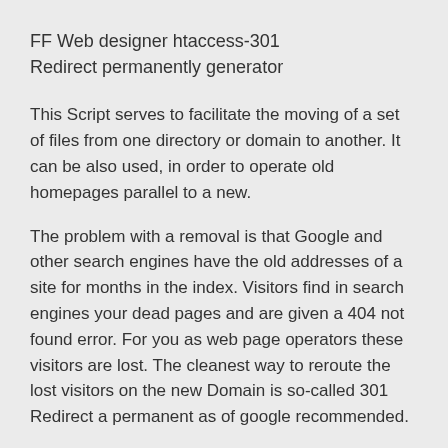FF Web designer htaccess-301 Redirect permanently generator
This Script serves to facilitate the moving of a set of files from one directory or domain to another. It can be also used, in order to operate old homepages parallel to a new.
The problem with a removal is that Google and other search engines have the old addresses of a site for months in the index. Visitors find in search engines your dead pages and are given a 404 not found error. For you as web page operators these visitors are lost. The cleanest way to reroute the lost visitors on the new Domain is so-called 301 Redirect a permanent as of google recommended.
The 301 is an instruction, which is put